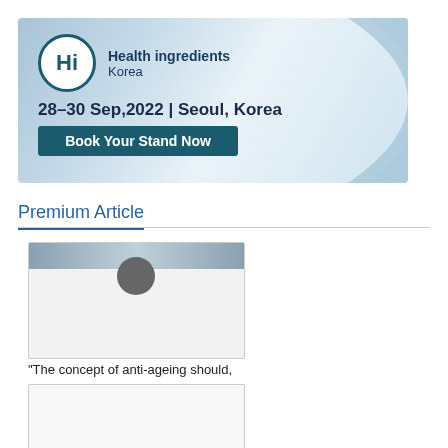[Figure (other): Health ingredients Korea banner advertisement showing logo, event dates 28-30 Sep,2022 | Seoul, Korea and Book Your Stand Now button]
Premium Article
[Figure (photo): Partially visible article image showing a person's head at the top]
“The concept of anti-ageing should,
[Figure (photo): Blank/placeholder article image]
For the automation portfolio, we se